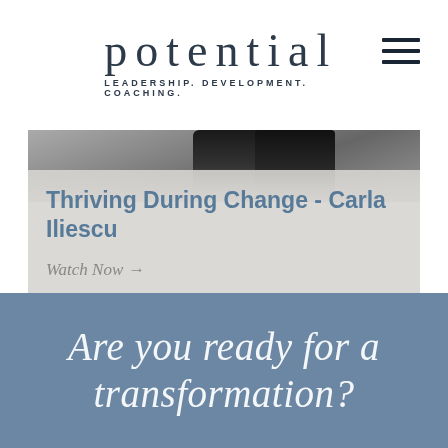potential | LEADERSHIP. DEVELOPMENT. COACHING.
[Figure (screenshot): Hero banner image showing a dark object (microphone or similar) at top, with a semi-transparent overlay containing article title and Watch Now link]
Thriving During Change - Carla Iliescu
Watch Now →
Are you ready for a transformation?